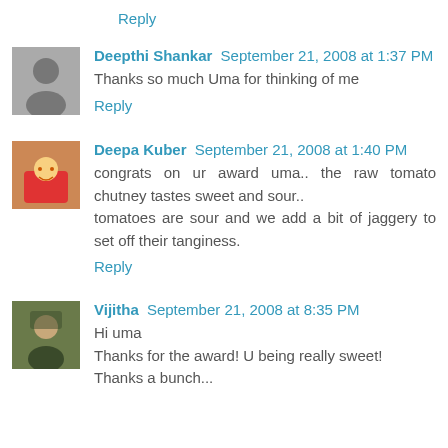Reply
Deepthi Shankar  September 21, 2008 at 1:37 PM
Thanks so much Uma for thinking of me
Reply
Deepa Kuber  September 21, 2008 at 1:40 PM
congrats on ur award uma.. the raw tomato chutney tastes sweet and sour.. tomatoes are sour and we add a bit of jaggery to set off their tanginess.
Reply
Vijitha  September 21, 2008 at 8:35 PM
Hi uma
Thanks for the award! U being really sweet!
Thanks a bunch...